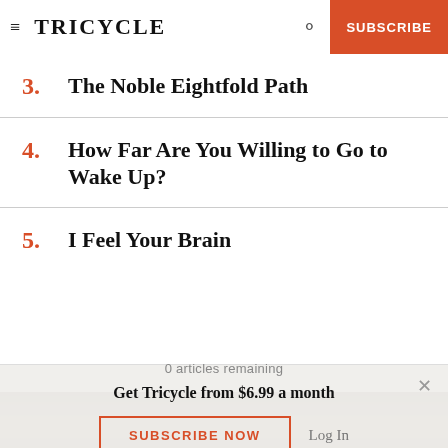TRICYCLE | SUBSCRIBE
3. The Noble Eightfold Path
4. How Far Are You Willing to Go to Wake Up?
5. I Feel Your Brain
[Figure (photo): Partial photo strip of a person, cropped at bottom of page]
0 articles remaining
Get Tricycle from $6.99 a month
SUBSCRIBE NOW   Log In